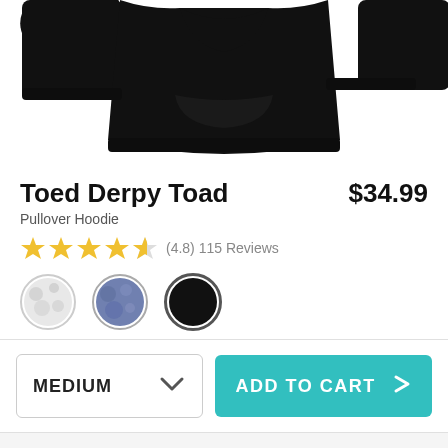[Figure (photo): Black pullover hoodie sweatshirt product photo, cropped showing upper portion of garment on white background]
Toed Derpy Toad
$34.99
Pullover Hoodie
(4.8) 115 Reviews
[Figure (illustration): Three color swatches: white/marble, blue/heather, black]
MEDIUM
ADD TO CART
Also Available On
[Figure (photo): Also Available On product thumbnails row, partially visible]